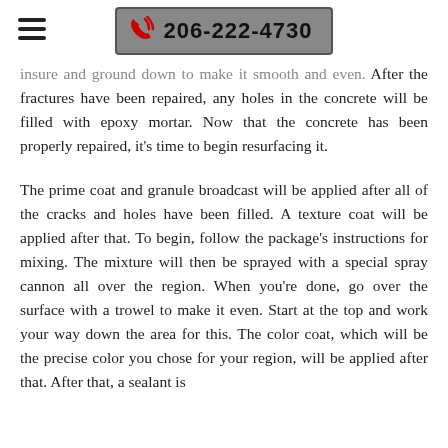☰  📞 206-222-4730
insure and ground down to make it smooth and even. After the fractures have been repaired, any holes in the concrete will be filled with epoxy mortar. Now that the concrete has been properly repaired, it's time to begin resurfacing it.
The prime coat and granule broadcast will be applied after all of the cracks and holes have been filled. A texture coat will be applied after that. To begin, follow the package's instructions for mixing. The mixture will then be sprayed with a special spray cannon all over the region. When you're done, go over the surface with a trowel to make it even. Start at the top and work your way down the area for this. The color coat, which will be the precise color you chose for your region, will be applied after that. After that, a sealant is